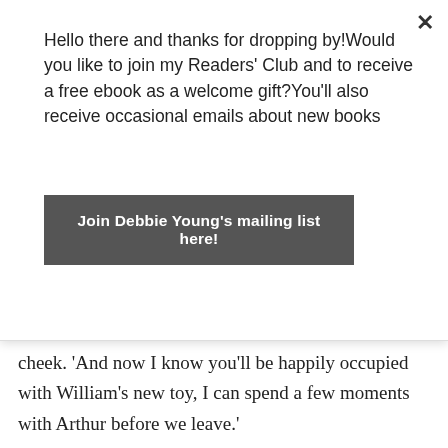Hello there and thanks for dropping by!Would you like to join my Readers' Club and to receive a free ebook as a welcome gift?You'll also receive occasional emails about new books
Join Debbie Young's mailing list here!
cheek. 'And now I know you'll be happily occupied with William's new toy, I can spend a few moments with Arthur before we leave.'
[Figure (photo): Vintage early 1900s green automobile (open touring car) with gold/brass trim and spoke wheels, parked on grass with trees and blue sky in background.]